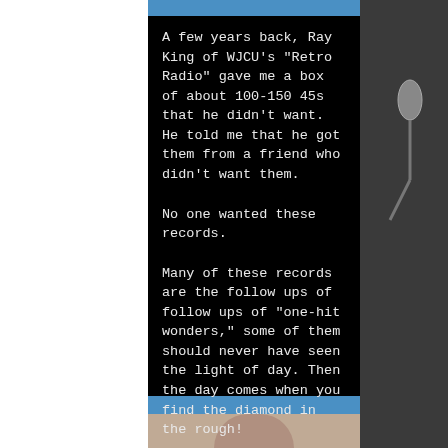A few years back, Ray King of WJCU's "Retro Radio" gave me a box of about 100-150 45s that he didn't want. He told me that he got them from a friend who didn't want them.
No one wanted these records.
Many of these records are the follow ups of follow ups of "one-hit wonders," some of them should never have seen the light of day. Then the day comes when you find the diamond in the rough!
[Figure (photo): Bottom portion showing a person's head/shoulders, framed by blue bars, with a microphone visible on the right side]